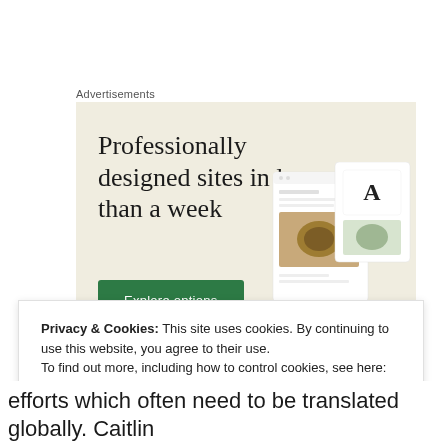Advertisements
[Figure (screenshot): Advertisement banner with beige background showing 'Professionally designed sites in less than a week' headline and 'Explore options' green button, with website mockup images on the right]
Privacy & Cookies: This site uses cookies. By continuing to use this website, you agree to their use.
To find out more, including how to control cookies, see here: Cookie Policy
efforts which often need to be translated globally. Caitlin